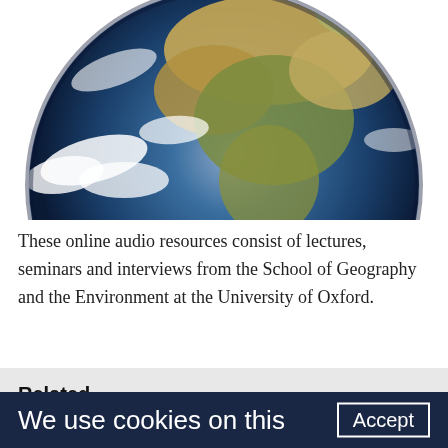[Figure (photo): Photograph of planet Earth from space, centered on Africa and Europe, showing blue oceans, land masses, and white cloud cover. The image is cropped showing the top portion of the globe.]
These online audio resources consist of lectures, seminars and interviews from the School of Geography and the Environment at the University of Oxford.
Related
We use cookies on this
Accept